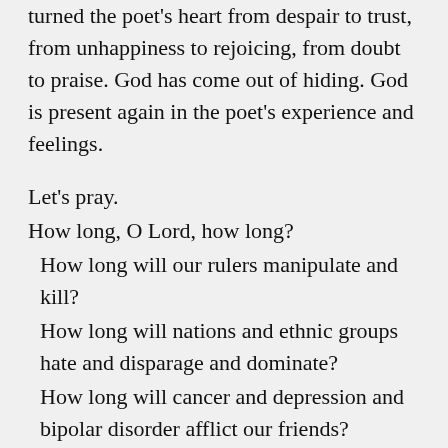turned the poet's heart from despair to trust, from unhappiness to rejoicing, from doubt to praise. God has come out of hiding. God is present again in the poet's experience and feelings.
Let's pray.
How long, O Lord, how long?
 How long will our rulers manipulate and kill?
 How long will nations and ethnic groups hate and disparage and dominate?
 How long will cancer and depression and bipolar disorder afflict our friends?
 How long will our leaders create division and hatred through politics, economics, race and gender?
 How long will the rich lobby for tax breaks while